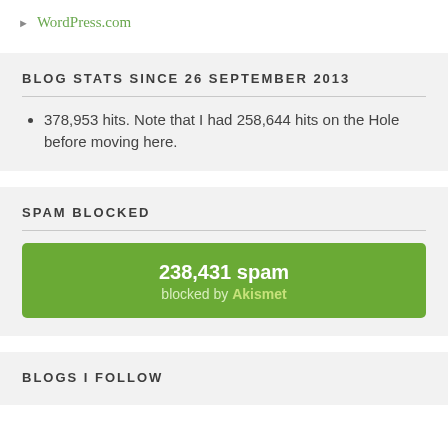WordPress.com
BLOG STATS SINCE 26 SEPTEMBER 2013
378,953 hits. Note that I had 258,644 hits on the Hole before moving here.
SPAM BLOCKED
[Figure (infographic): Green rounded rectangle banner showing '238,431 spam blocked by Akismet']
BLOGS I FOLLOW